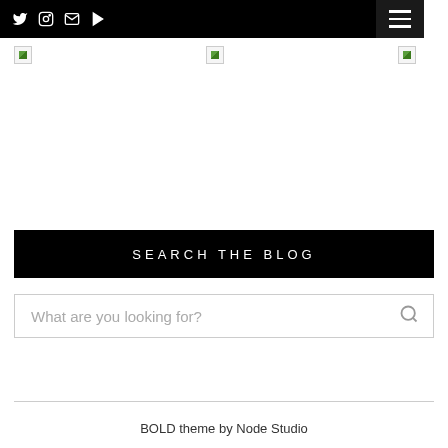Social icons and navigation bar
[Figure (screenshot): Three broken image placeholders in a row below the navigation bar]
SEARCH THE BLOG
What are you looking for?
BOLD theme by Node Studio